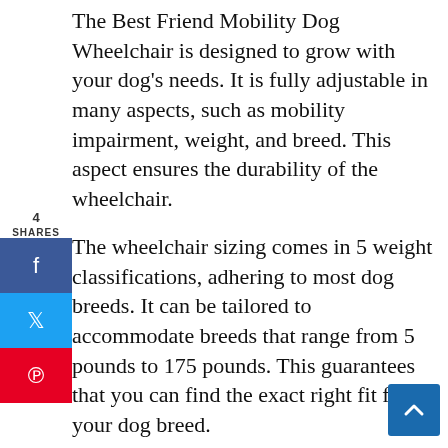The Best Friend Mobility Dog Wheelchair is designed to grow with your dog's needs. It is fully adjustable in many aspects, such as mobility impairment, weight, and breed. This aspect ensures the durability of the wheelchair.
The wheelchair sizing comes in 5 weight classifications, adhering to most dog breeds. It can be tailored to accommodate breeds that range from 5 pounds to 175 pounds. This guarantees that you can find the exact right fit for your dog breed.
It's lightweight stainless steel design is easily transportable while also being durable. Its rustproof hardware ensures